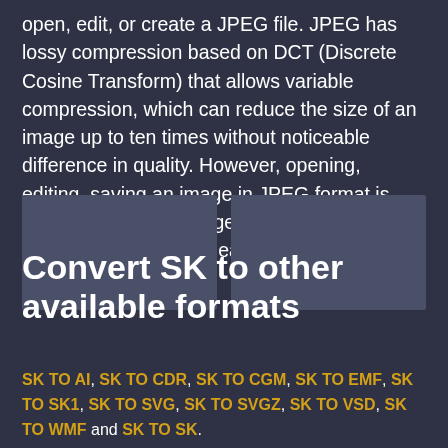open, edit, or create a JPEG file. JPEG has lossy compression based on DCT (Discrete Cosine Transform) that allows variable compression, which can reduce the size of an image up to ten times without noticeable difference in quality. However, opening, editing, saving an image in JPEG format is going to affect the image quality, which is going to degrade after each modification.
[Figure (illustration): Two gray placeholder image boxes side by side]
Convert SK to other available formats
SK TO AI, SK TO CDR, SK TO CGM, SK TO EMF, SK TO SK1, SK TO SVG, SK TO SVGZ, SK TO VSD, SK TO WMF and SK TO SK.